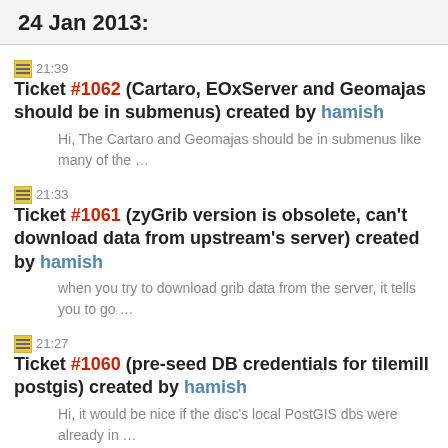24 Jan 2013:
21:39 Ticket #1062 (Cartaro, EOxServer and Geomajas should be in submenus) created by hamish
Hi, The Cartaro and Geomajas should be in submenus like many of the …
21:33 Ticket #1061 (zyGrib version is obsolete, can't download data from upstream's server) created by hamish
when you try to download grib data from the server, it tells you to go …
21:27 Ticket #1060 (pre-seed DB credentials for tilemill postgis) created by hamish
Hi, it would be nice if the disc's local PostGIS dbs were already in …
20:21 Ticket #1033 (GeoServer fails to start) reopened by hamish
please move the ML email addr from the owner field if you